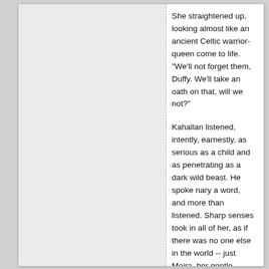She straightened up, looking almost like an ancient Celtic warrior-queen come to life. "We'll not forget them, Duffy. We'll take an oath on that, will we not?"
Kahallan listened, intently, earnestly, as serious as a child and as penetrating as a dark wild beast. He spoke nary a word, and more than listened. Sharp senses took in all of her, as if there was no one else in the world -- just Moira, her gentle touch, the music of her words, the scent of her hair, the taste of her warm breath as they sat so very close. Duffy's dark eyes never left hers, trusting, not worrying if he somehow got lost in pools of the brightest emerald. Until, finally, in the end, he gave her the smallest nod, just the slightest, almost imperceptible motion.